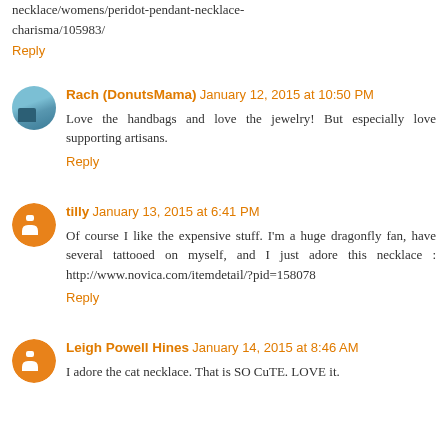necklace/womens/peridot-pendant-necklace-charisma/105983/
Reply
Rach (DonutsMama) January 12, 2015 at 10:50 PM
Love the handbags and love the jewelry! But especially love supporting artisans.
Reply
tilly January 13, 2015 at 6:41 PM
Of course I like the expensive stuff. I'm a huge dragonfly fan, have several tattooed on myself, and I just adore this necklace : http://www.novica.com/itemdetail/?pid=158078
Reply
Leigh Powell Hines January 14, 2015 at 8:46 AM
I adore the cat necklace. That is SO CuTE. LOVE it.